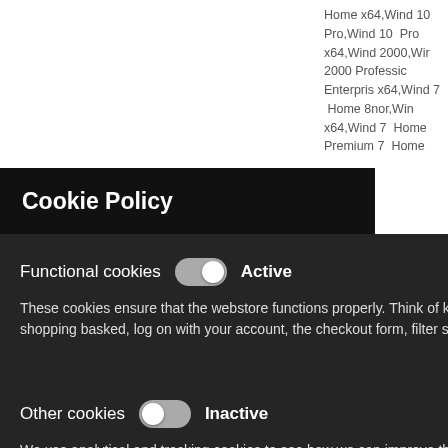Home x64,Wind 10 Pro,Wind 10 Pro x64,Wind 2000,Win 2000 Professio Enterpris x64,Wind 7 Home 8nor,Win x64,Wind 7 Home Premium 7 Home
Cookie Policy
Functional cookies Active
These cookies ensure that the webstore functions properly. Think of keeping track of your language and your products in your shopping basked, log on with your account, the checkout form, filter search results etc.
Other cookies Inactive
We use analytical and tracking cookies to see how we can improve the webstore and how we can adapt content and potential advertisements to your preference.
Save Settings